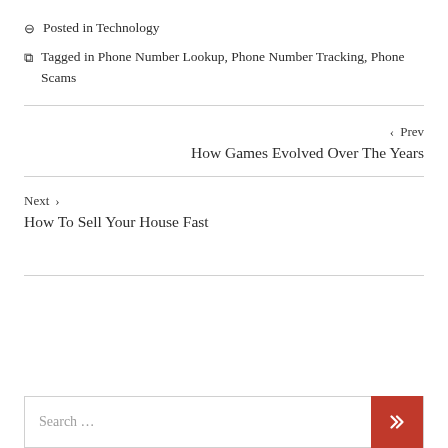Posted in Technology
Tagged in Phone Number Lookup, Phone Number Tracking, Phone Scams
‹ Prev
How Games Evolved Over The Years
Next ›
How To Sell Your House Fast
Search ...